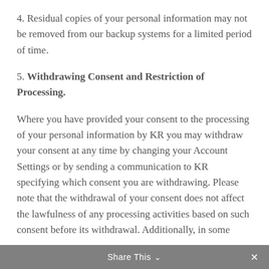4. Residual copies of your personal information may not be removed from our backup systems for a limited period of time.
5. Withdrawing Consent and Restriction of Processing.
Where you have provided your consent to the processing of your personal information by KR you may withdraw your consent at any time by changing your Account Settings or by sending a communication to KR specifying which consent you are withdrawing. Please note that the withdrawal of your consent does not affect the lawfulness of any processing activities based on such consent before its withdrawal. Additionally, in some
Share This ×